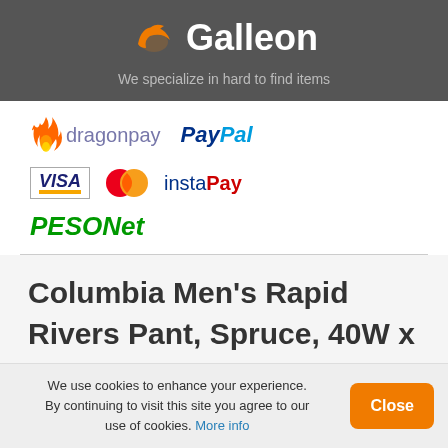Galleon - We specialize in hard to find items
[Figure (logo): Payment method logos: dragonpay, PayPal, VISA, Mastercard, instaPay, PESONet]
Columbia Men's Rapid Rivers Pant, Spruce, 40W x 34L Features
We use cookies to enhance your experience. By continuing to visit this site you agree to our use of cookies. More info